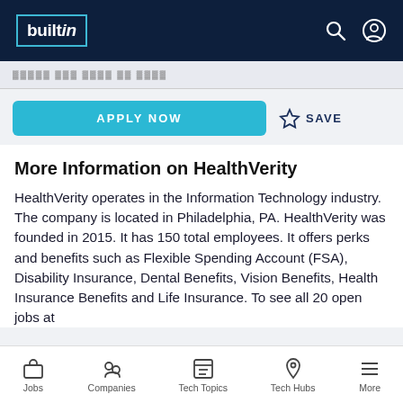builtin
APPLY NOW   ☆ SAVE
More Information on HealthVerity
HealthVerity operates in the Information Technology industry. The company is located in Philadelphia, PA. HealthVerity was founded in 2015. It has 150 total employees. It offers perks and benefits such as Flexible Spending Account (FSA), Disability Insurance, Dental Benefits, Vision Benefits, Health Insurance Benefits and Life Insurance. To see all 20 open jobs at
Jobs   Companies   Tech Topics   Tech Hubs   More